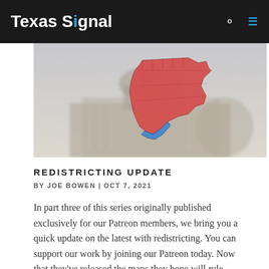Texas Signal
[Figure (photo): Hero image showing a Texas state map overlay in red and blue colors on top of a foggy state capitol building background]
REDISTRICTING UPDATE
BY JOE BOWEN | OCT 7, 2021
In part three of this series originally published exclusively for our Patreon members, we bring you a quick update on the latest with redistricting. You can support our work by joining our Patreon today. Now that they've released the maps they hope will rule Texas